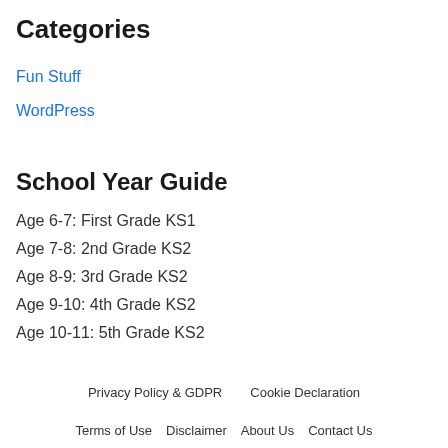Categories
Fun Stuff
WordPress
School Year Guide
Age 6-7: First Grade KS1
Age 7-8: 2nd Grade KS2
Age 8-9: 3rd Grade KS2
Age 9-10: 4th Grade KS2
Age 10-11: 5th Grade KS2
Privacy Policy & GDPR  Cookie Declaration  Terms of Use  Disclaimer  About Us  Contact Us